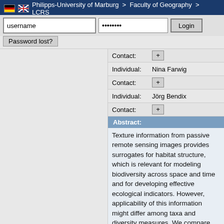Philipps-University of Marburg > Faculty of Geography > LCRS
username | ••••••••  Login
Password lost?
Individual: Nina Farwig
Contact: +
Individual: Jörg Bendix
Contact: +
Abstract:
Texture information from passive remote sensing images provides surrogates for habitat structure, which is relevant for modeling biodiversity across space and time and for developing effective ecological indicators. However, applicability of this information might differ among taxa and diversity measures. We compare the ability of indicators developed from texture analysis of remotely sensed images to predict species richness and species turnover of six taxa (trees, pyraloid moths, geometrid moths, arctiinae moths, ants, and birds) in a megadiverse Andean mountain rainforest ecosystem. Partial least-squares regression models were fitted using 12 predictors that characterize the habitat and included three topographical